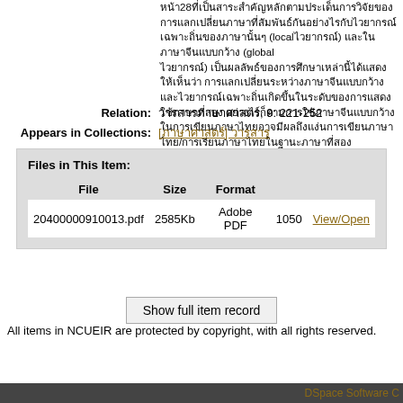28 local global , /
Relation: , 9: 221-252
Appears in Collections: [     ]
| File | Size | Format |  |  |
| --- | --- | --- | --- | --- |
| 20400000910013.pdf | 2585Kb | Adobe PDF | 1050 | View/Open |
Show full item record
All items in NCUEIR are protected by copyright, with all rights reserved.
DSpace Software C